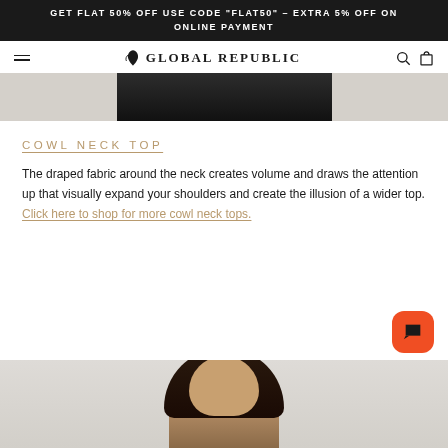GET FLAT 50% OFF USE CODE 'FLAT50' - EXTRA 5% OFF ON ONLINE PAYMENT
Global Republic - navigation bar with logo, search, and cart icons
[Figure (photo): Cropped product photo showing bottom portion of a black clothing item against a light beige background]
COWL NECK TOP
The draped fabric around the neck creates volume and draws the attention up that visually expand your shoulders and create the illusion of a wider top. Click here to shop for more cowl neck tops.
[Figure (photo): Model with long dark hair photographed from shoulders up against a light gray background, wearing a cowl neck top]